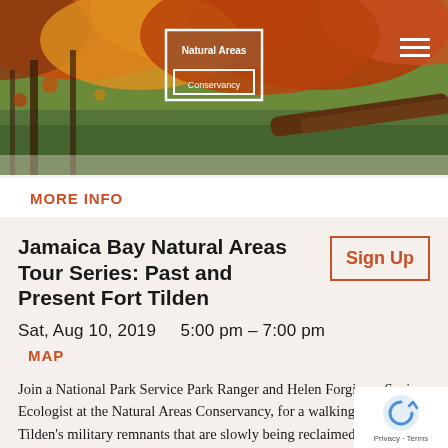[Figure (photo): Autumn foliage photo showing trees with orange, red and yellow leaves overhanging a body of water, used as website header background]
[Figure (logo): Natural Areas Conservancy logo — white rectangular border with text 'Natural Areas Conservancy' inside]
MORE INFO
Jamaica Bay Natural Areas Tour Series: Past and Present Fort Tilden
Sign Up
Sat, Aug 10, 2019    5:00 pm – 7:00 pm
MAP
Join a National Park Service Park Ranger and Helen Forgione, Senior Ecologist at the Natural Areas Conservancy, for a walking tour of Fort Tilden's military remnants that are slowly being reclaimed by nature. Fort Tilden served as an important military